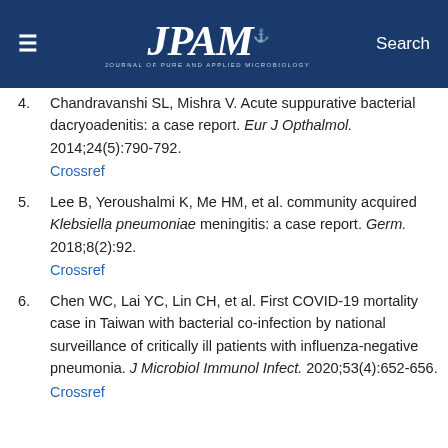JPAM — Journal of Pure and Applied Microbiology
4. Chandravanshi SL, Mishra V. Acute suppurative bacterial dacryoadenitis: a case report. Eur J Opthalmol. 2014;24(5):790-792. Crossref
5. Lee B, Yeroushalmi K, Me HM, et al. community acquired Klebsiella pneumoniae meningitis: a case report. Germ. 2018;8(2):92. Crossref
6. Chen WC, Lai YC, Lin CH, et al. First COVID-19 mortality case in Taiwan with bacterial co-infection by national surveillance of critically ill patients with influenza-negative pneumonia. J Microbiol Immunol Infect. 2020;53(4):652-656. Crossref